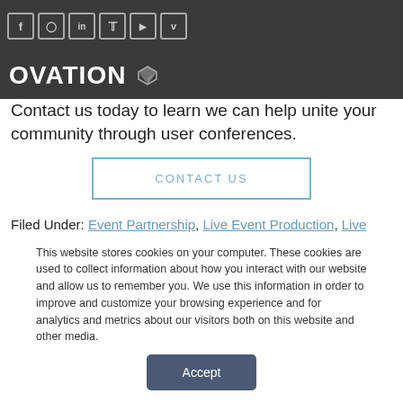Social icons: Facebook, Instagram, LinkedIn, Twitter, YouTube, Vimeo
[Figure (logo): Ovation logo with cube icon on dark background]
Contact us today to learn we can help unite your community through user conferences.
CONTACT US
Filed Under: Event Partnership, Live Event Production, Live Events, Virtual Event Production, Virtual Events
This website stores cookies on your computer. These cookies are used to collect information about how you interact with our website and allow us to remember you. We use this information in order to improve and customize your browsing experience and for analytics and metrics about our visitors both on this website and other media.
Accept